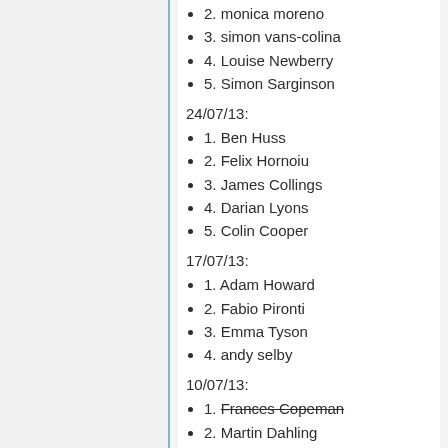2. monica moreno
3. simon vans-colina
4. Louise Newberry
5. Simon Sarginson
24/07/13:
1. Ben Huss
2. Felix Hornoiu
3. James Collings
4. Darian Lyons
5. Colin Cooper
17/07/13:
1. Adam Howard
2. Fabio Pironti
3. Emma Tyson
4. andy selby
10/07/13:
1. Frances Copeman (strikethrough)
2. Martin Dahling (partial)